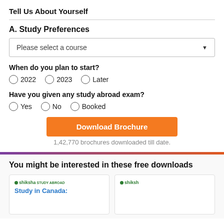Tell Us About Yourself
A. Study Preferences
Please select a course
When do you plan to start?
2022
2023
Later
Have you given any study abroad exam?
Yes
No
Booked
Download Brochure
1,42,770 brochures downloaded till date.
You might be interested in these free downloads
Study in Canada: